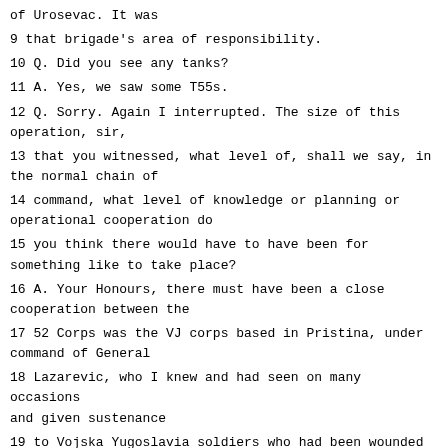of Urosevac. It was
9 that brigade's area of responsibility.
10 Q. Did you see any tanks?
11 A. Yes, we saw some T55s.
12 Q. Sorry. Again I interrupted. The size of this operation, sir,
13 that you witnessed, what level of, shall we say, in the normal chain of
14 command, what level of knowledge or planning or operational cooperation do
15 you think there would have to have been for something like to take place?
16 A. Your Honours, there must have been a close cooperation between the
17 52 Corps was the VJ corps based in Pristina, under command of General
18 Lazarevic, who I knew and had seen on many occasions and given sustenance
19 to Vojska Yugoslavia soldiers who had been wounded and, in fact, one